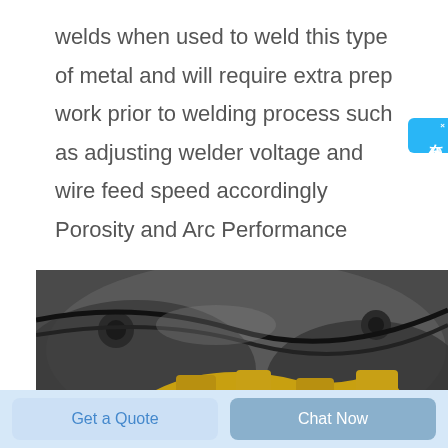welds when used to weld this type of metal and will require extra prep work prior to welding process such as adjusting welder voltage and wire feed speed accordingly Porosity and Arc Performance
[Figure (photo): Close-up photo of welding machinery or industrial equipment showing metallic grey components and yellow/gold mechanical parts, likely a mining or construction machine component.]
Get a Quote
Chat Now